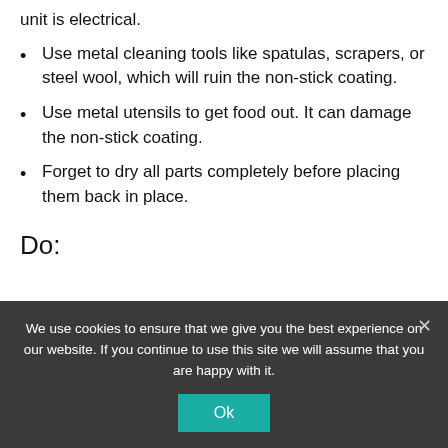unit is electrical.
Use metal cleaning tools like spatulas, scrapers, or steel wool, which will ruin the non-stick coating.
Use metal utensils to get food out. It can damage the non-stick coating.
Forget to dry all parts completely before placing them back in place.
Do:
We use cookies to ensure that we give you the best experience on our website. If you continue to use this site we will assume that you are happy with it.